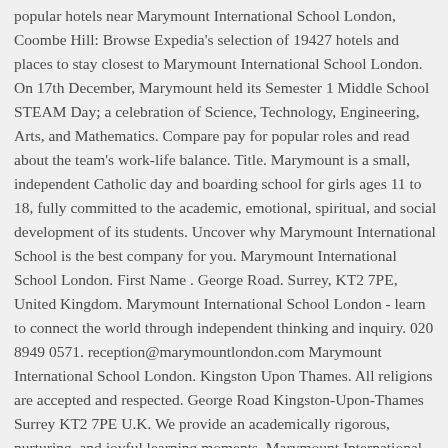popular hotels near Marymount International School London, Coombe Hill: Browse Expedia's selection of 19427 hotels and places to stay closest to Marymount International School London. On 17th December, Marymount held its Semester 1 Middle School STEAM Day; a celebration of Science, Technology, Engineering, Arts, and Mathematics. Compare pay for popular roles and read about the team's work-life balance. Title. Marymount is a small, independent Catholic day and boarding school for girls ages 11 to 18, fully committed to the academic, emotional, spiritual, and social development of its students. Uncover why Marymount International School is the best company for you. Marymount International School London. First Name . George Road. Surrey, KT2 7PE, United Kingdom. Marymount International School London - learn to connect the world through independent thinking and inquiry. 020 8949 0571. reception@marymountlondon.com Marymount International School London. Kingston Upon Thames. All religions are accepted and respected. George Road Kingston-Upon-Thames Surrey KT2 7PE U.K. We provide an academically rigorous, nurturing, and joyful learning moments. Marymount International School, London, is a private, Catholic, day and boarding school for girls providing an education based on Christian values to girls from the ages of 11 to 18 years. Marymount International School London is an IB day and boarding